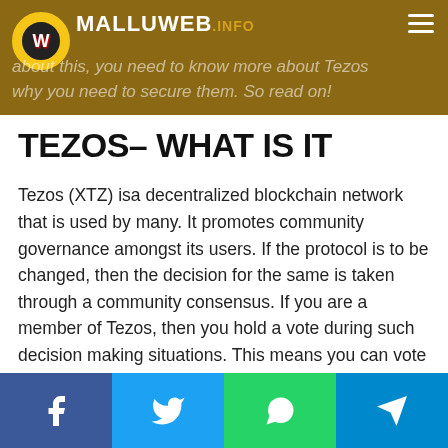MALLUWEB.INFO — about this, you need to know more about Tezos why you need to secure them. So read on!
TEZOS– WHAT IS IT
Tezos (XTZ) isa decentralized blockchain network that is used by many. It promotes community governance amongst its users. If the protocol is to be changed, then the decision for the same is taken through a community consensus. If you are a member of Tezos, then you hold a vote during such decision making situations. This means you can vote to change or not change the network.
This network has inspired many crypto-currency users. This is because of how Tezos makes all its members and users the
Facebook | Twitter | WhatsApp | Telegram